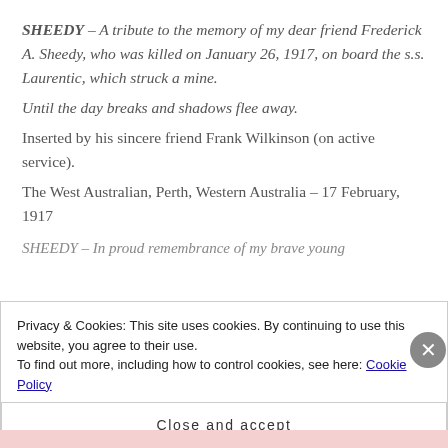SHEEDY – A tribute to the memory of my dear friend Frederick A. Sheedy, who was killed on January 26, 1917, on board the s.s. Laurentic, which struck a mine.
Until the day breaks and shadows flee away.
Inserted by his sincere friend Frank Wilkinson (on active service).
The West Australian, Perth, Western Australia – 17 February, 1917
SHEEDY – In proud remembrance of my brave young
Privacy & Cookies: This site uses cookies. By continuing to use this website, you agree to their use.
To find out more, including how to control cookies, see here: Cookie Policy